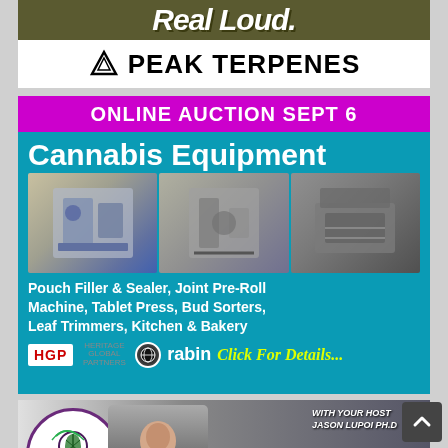[Figure (illustration): Banner ad for 'Real Loud.' with olive/dark background text]
[Figure (logo): Peak Terpenes logo with mountain/triangle icon on white background]
[Figure (infographic): Online Auction Sept 6 - Cannabis Equipment ad on teal background with magenta header, showing three cannabis processing machines (Pouch Filler & Sealer, Joint Pre-Roll Machine, Tablet Press, Bud Sorters, Leaf Trimmers, Kitchen & Bakery), HGP and Rabin logos, Click For Details text]
[Figure (infographic): Terpenes and Testing Magazine podcast ad with host Jason Lupoi Ph.D, showing circular logo with cannabis leaf and radio waves, host photo, waveform]